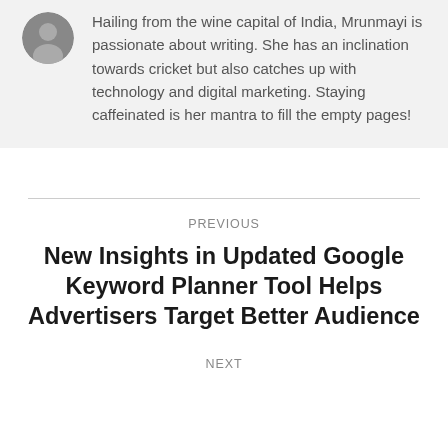[Figure (photo): Circular author photo (headshot) in grayscale]
Hailing from the wine capital of India, Mrunmayi is passionate about writing. She has an inclination towards cricket but also catches up with technology and digital marketing. Staying caffeinated is her mantra to fill the empty pages!
PREVIOUS
New Insights in Updated Google Keyword Planner Tool Helps Advertisers Target Better Audience
NEXT